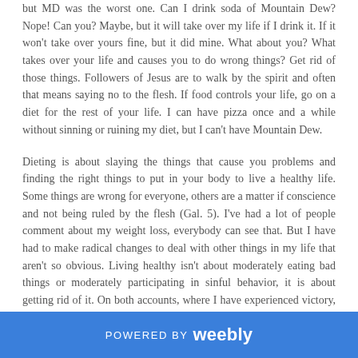but MD was the worst one. Can I drink soda of Mountain Dew? Nope! Can you? Maybe, but it will take over my life if I drink it. If it won't take over yours fine, but it did mine. What about you? What takes over your life and causes you to do wrong things? Get rid of those things. Followers of Jesus are to walk by the spirit and often that means saying no to the flesh. If food controls your life, go on a diet for the rest of your life. I can have pizza once and a while without sinning or ruining my diet, but I can't have Mountain Dew.
Dieting is about slaying the things that cause you problems and finding the right things to put in your body to live a healthy life. Some things are wrong for everyone, others are a matter if conscience and not being ruled by the flesh (Gal. 5). I've had a lot of people comment about my weight loss, everybody can see that. But I have had to make radical changes to deal with other things in my life that aren't so obvious. Living healthy isn't about moderately eating bad things or moderately participating in sinful behavior, it is about getting rid of it. On both accounts, where I have experienced victory, I am better for it. I'm not missing anything.
POWERED BY weebly